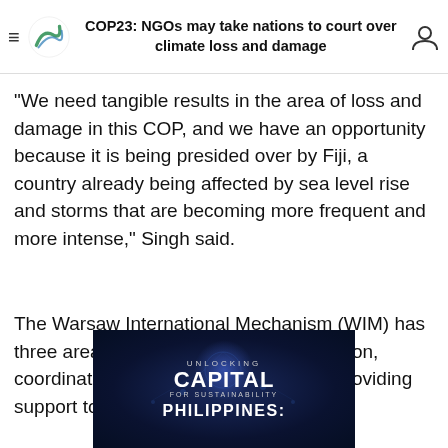COP23: NGOs may take nations to court over climate loss and damage
“We need tangible results in the area of loss and damage in this COP, and we have an opportunity because it is being presided over by Fiji, a country already being affected by sea level rise and storms that are becoming more frequent and more intense,” Singh said.
The Warsaw International Mechanism (WIM) has three areas of work: knowledge generation, coordination, and enabling action and providing support to developing countries.
[Figure (photo): Advertisement image with dark blue neural/network background showing text: UNLOCKING CAPITAL FOR SUSTAINABILITY | PHILIPPINES:]